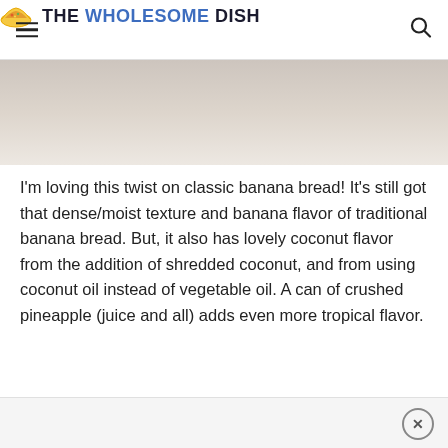THE WHOLESOME DISH
[Figure (photo): Partial view of banana coconut bread photo, cropped at top]
I'm loving this twist on classic banana bread!  It's still got that dense/moist texture and banana flavor of traditional banana bread.  But, it also has lovely coconut flavor from the addition of shredded coconut, and from using coconut oil instead of vegetable oil.  A can of crushed pineapple (juice and all) adds even more tropical flavor.